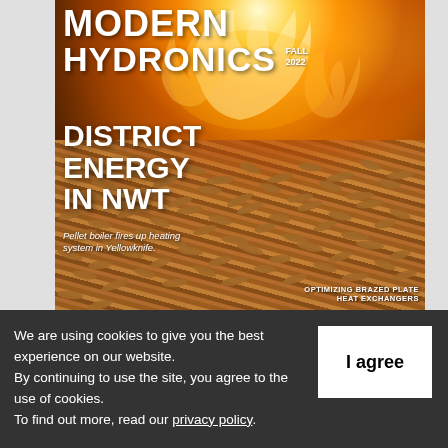[Figure (photo): Magazine cover of Modern Hydronics, Fall 2022. Shows burning wood pellets with large flames against a dark background. Features headline 'DISTRICT ENERGY IN NWT' and subtitle 'Pellet boiler fires up heating system in Yellowknife.' Bottom right has text 'OPTIMIZING BRAZED PLATE HEAT EXCHANGERS'.]
We are using cookies to give you the best experience on our website.
By continuing to use the site, you agree to the use of cookies.
To find out more, read our privacy policy.
I agree